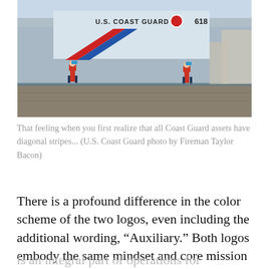[Figure (photo): U.S. Coast Guard cutter number 618 docked at a pier. Two personnel in orange safety vests and blue helmets stand on the dock near the large gray ship with a diagonal red and blue stripe and the text 'U.S. COAST GUARD' on the hull.]
That feeling when you first realize that all Coast Guard assets have diagonal stripes... (U.S. Coast Guard photo by Fireman Taylor Bacon)
There is a profound difference in the color scheme of the two logos, even including the additional wording, “Auxiliary.” Both logos embody the same mindset and core mission values. The US Coast Guard Auxiliary is an integral part of operations for the...